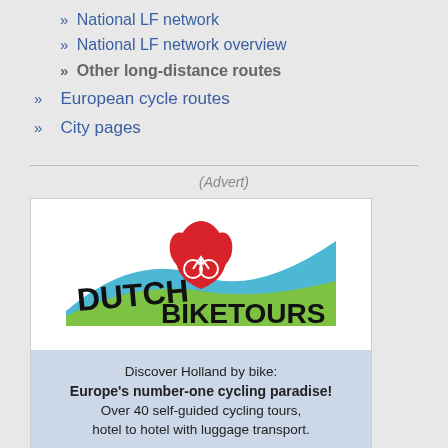» National LF network
» National LF network overview
» Other long-distance routes
» European cycle routes
» City pages
(Advert)
[Figure (logo): Dutch Bike Tours advertisement with logo showing tulip and bicycle, text: Discover Holland by bike: Europe's number-one cycling paradise! Over 40 self-guided cycling tours, hotel to hotel with luggage transport. dutchbiketours.nl]